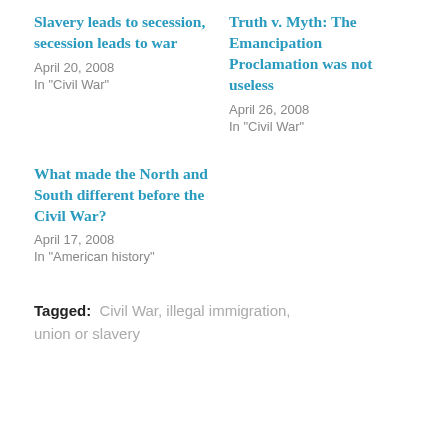Slavery leads to secession, secession leads to war
April 20, 2008
In "Civil War"
Truth v. Myth: The Emancipation Proclamation was not useless
April 26, 2008
In "Civil War"
What made the North and South different before the Civil War?
April 17, 2008
In "American history"
Tagged:   Civil War,  illegal immigration,  union or slavery